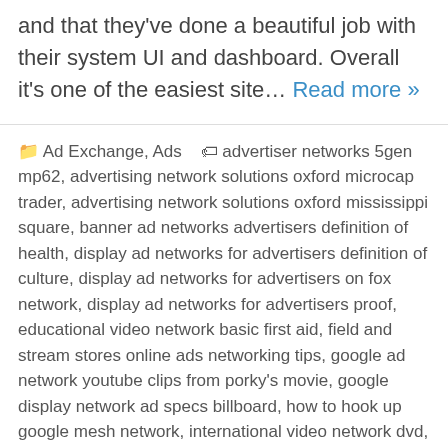and that they've done a beautiful job with their system UI and dashboard. Overall it's one of the easiest site… Read more »
📁 Ad Exchange, Ads 🏷 advertiser networks 5gen mp62, advertising network solutions oxford microcap trader, advertising network solutions oxford mississippi square, banner ad networks advertisers definition of health, display ad networks for advertisers definition of culture, display ad networks for advertisers on fox network, display ad networks for advertisers proof, educational video network basic first aid, field and stream stores online ads networking tips, google ad network youtube clips from porky's movie, google display network ad specs billboard, how to hook up google mesh network, international video network dvd, online ad networks advertisers leaving facebook, radiate media traffic network radio receiver, total advertising network's classified ad blaster, why have advertising networks become